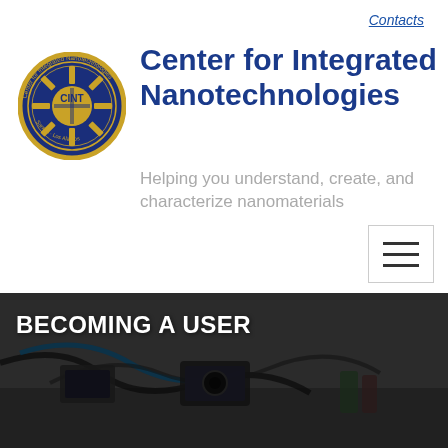Contacts
[Figure (logo): Circular logo of the Center for Integrated Nanotechnologies (CINT) featuring a gold Zia sun symbol and compass rose design on a navy blue background with gold text around the border]
Center for Integrated Nanotechnologies
Helping you understand, create, and characterize nanomaterials
[Figure (other): Hamburger menu icon (three horizontal lines) inside a square border]
BECOMING A USER
[Figure (photo): Dark hero banner image showing laboratory equipment — cables, instruments, and devices on a workbench, with a dark overlay]